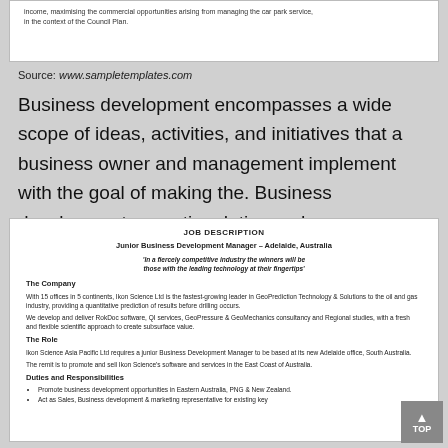[Figure (screenshot): Top portion of a document showing partial text about income, maximising commercial opportunities from managing the car park service, in the context of the Council Plan.]
Source: www.sampletemplates.com
Business development encompasses a wide scope of ideas, activities, and initiatives that a business owner and management implement with the goal of making the. Business development executive duties and responsibilities.
[Figure (screenshot): Job description document for Junior Business Development Manager - Adelaide, Australia. Includes company info about Ikon Science Ltd, role description, and duties and responsibilities bullet points.]